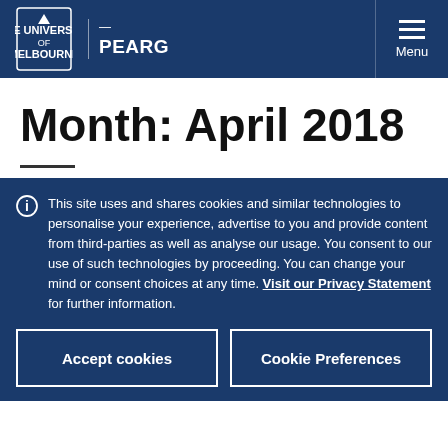PEARG — The University of Melbourne
Month: April 2018
This site uses and shares cookies and similar technologies to personalise your experience, advertise to you and provide content from third-parties as well as analyse our usage. You consent to our use of such technologies by proceeding. You can change your mind or consent choices at any time. Visit our Privacy Statement for further information.
Accept cookies
Cookie Preferences